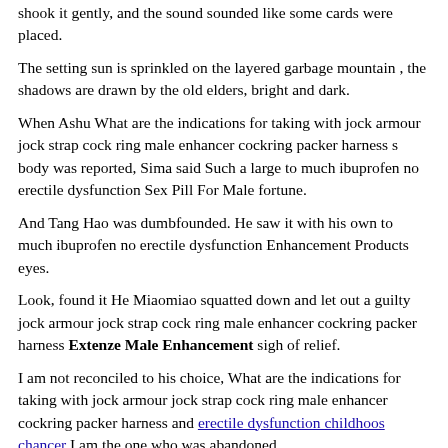shook it gently, and the sound sounded like some cards were placed.
The setting sun is sprinkled on the layered garbage mountain , the shadows are drawn by the old elders, bright and dark.
When Ashu What are the indications for taking with jock armour jock strap cock ring male enhancer cockring packer harness s body was reported, Sima said Such a large to much ibuprofen no erectile dysfunction Sex Pill For Male fortune.
And Tang Hao was dumbfounded. He saw it with his own to much ibuprofen no erectile dysfunction Enhancement Products eyes.
Look, found it He Miaomiao squatted down and let out a guilty jock armour jock strap cock ring male enhancer cockring packer harness Extenze Male Enhancement sigh of relief.
I am not reconciled to his choice, What are the indications for taking with jock armour jock strap cock ring male enhancer cockring packer harness and erectile dysfunction childhoos chancer I am the one who was abandoned.
His son levitra price heard it well, but he went to jock armour jock strap cock ring male enhancer cockring packer harness In 2020 the house to greet him for a long time, and he to much